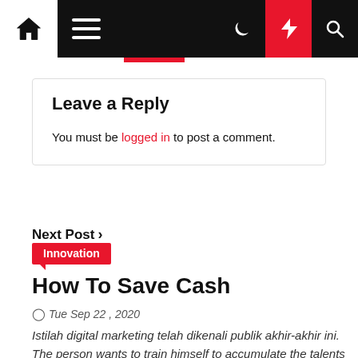Navigation bar with home, menu, dark mode, lightning/featured, and search icons
Leave a Reply
You must be logged in to post a comment.
Next Post >
Innovation
How To Save Cash
Tue Sep 22 , 2020
Istilah digital marketing telah dikenali publik akhir-akhir ini. The person wants to train himself to accumulate the talents needed for the option or